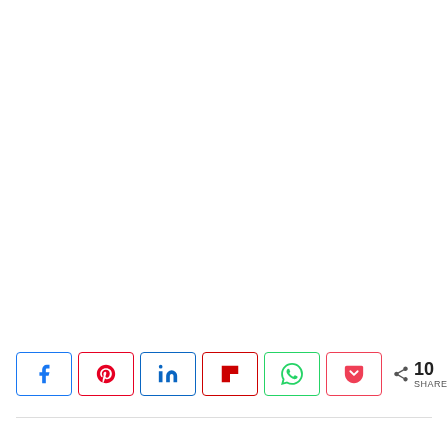[Figure (infographic): Social share bar with buttons for Facebook, Pinterest, LinkedIn, Flipboard, WhatsApp, and Pocket, plus a total share count of 10 SHARES with a share icon.]